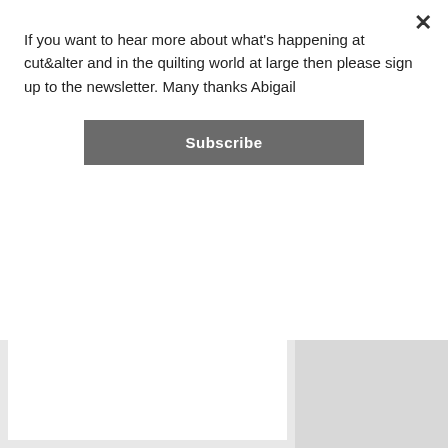If you want to hear more about what's happening at cut&alter and in the quilting world at large then please sign up to the newsletter. Many thanks Abigail
Subscribe
[Figure (logo): cut&alter circular logo with scissors and text 'cut&alter :: QUILTS :: :: LONGARM QUILTING ::']
WELCOME
I am Abigail, the person behind cut&alter. What can you expect to
least, it gives me a ch
Rolled over from Q2:
Studio Blind - I r